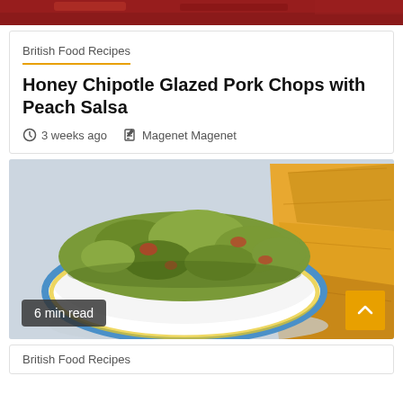[Figure (photo): Top strip showing a partial food photo — red/dark tones at top of page]
British Food Recipes
Honey Chipotle Glazed Pork Chops with Peach Salsa
3 weeks ago   Magenet Magenet
[Figure (photo): Bowl of guacamole with tomato pieces in a decorative blue and yellow patterned bowl, with tortilla chips on the right side, on a white marble surface. Badge: 6 min read. Orange scroll-up button bottom right.]
British Food Recipes